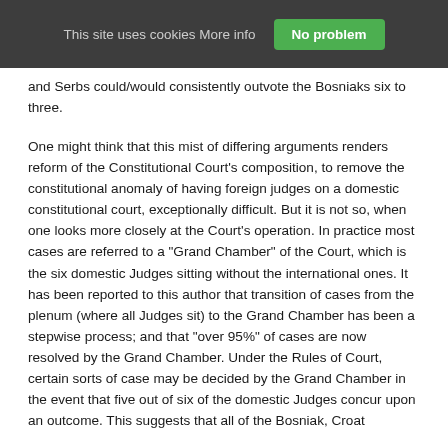This site uses cookies More info    No problem
and Serbs could/would consistently outvote the Bosniaks six to three.
One might think that this mist of differing arguments renders reform of the Constitutional Court's composition, to remove the constitutional anomaly of having foreign judges on a domestic constitutional court, exceptionally difficult. But it is not so, when one looks more closely at the Court's operation. In practice most cases are referred to a "Grand Chamber" of the Court, which is the six domestic Judges sitting without the international ones. It has been reported to this author that transition of cases from the plenum (where all Judges sit) to the Grand Chamber has been a stepwise process; and that "over 95%" of cases are now resolved by the Grand Chamber. Under the Rules of Court, certain sorts of case may be decided by the Grand Chamber in the event that five out of six of the domestic Judges concur upon an outcome. This suggests that all of the Bosniak, Croat